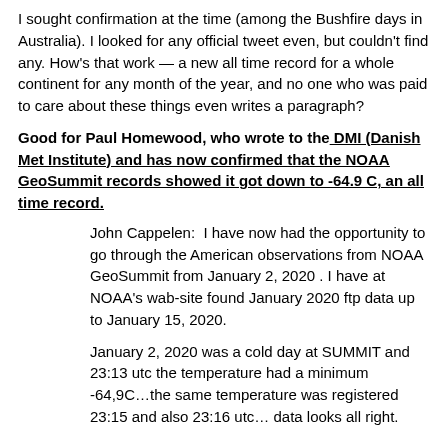I sought confirmation at the time (among the Bushfire days in Australia). I looked for any official tweet even, but couldn't find any. How's that work — a new all time record for a whole continent for any month of the year, and no one who was paid to care about these things even writes a paragraph?
Good for Paul Homewood, who wrote to the DMI (Danish Met Institute) and has now confirmed that the NOAA GeoSummit records showed it got down to -64.9 C, an all time record.
John Cappelen:  I have now had the opportunity to go through the American observations from NOAA GeoSummit from January 2, 2020 . I have at NOAA's wab-site found January 2020 ftp data up to January 15, 2020.
January 2, 2020 was a cold day at SUMMIT and 23:13 utc the temperature had a minimum -64,9C…the same temperature was registered 23:15 and also 23:16 utc… data looks all right.